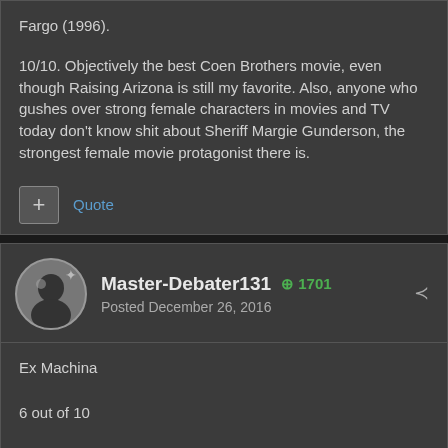Fargo (1996).
10/10. Objectively the best Coen Brothers movie, even though Raising Arizona is still my favorite. Also, anyone who gushes over strong female characters in movies and TV today don't know shit about Sheriff Margie Gunderson, the strongest female movie protagonist there is.
Master-Debater131  +1701
Posted December 26, 2016
Ex Machina
6 out of 10
Decent enough, decent even appear on my re-watch list.